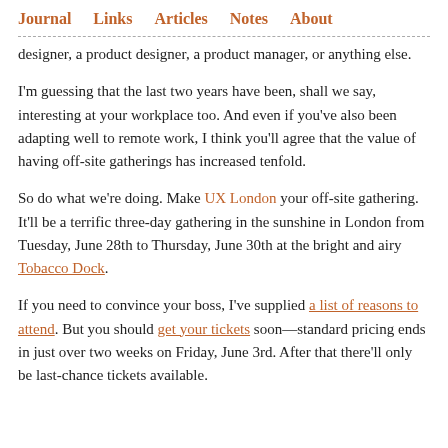Journal  Links  Articles  Notes  About
designer, a product designer, a product manager, or anything else.
I'm guessing that the last two years have been, shall we say, interesting at your workplace too. And even if you've also been adapting well to remote work, I think you'll agree that the value of having off-site gatherings has increased tenfold.
So do what we're doing. Make UX London your off-site gathering. It'll be a terrific three-day gathering in the sunshine in London from Tuesday, June 28th to Thursday, June 30th at the bright and airy Tobacco Dock.
If you need to convince your boss, I've supplied a list of reasons to attend. But you should get your tickets soon—standard pricing ends in just over two weeks on Friday, June 3rd. After that there'll only be last-chance tickets available.